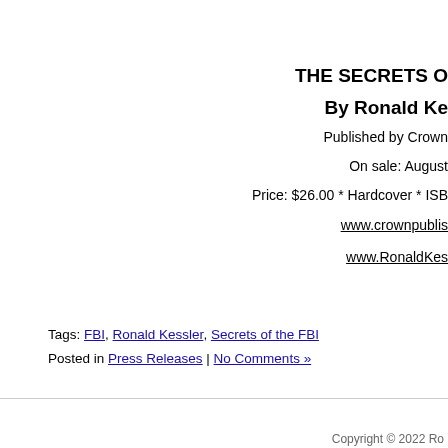THE SECRETS OF THE FBI
By Ronald Kessler
Published by Crown
On sale: August
Price: $26.00 * Hardcover * ISBN
www.crownpublishers.com
www.RonaldKessler.com
Tags: FBI, Ronald Kessler, Secrets of the FBI
Posted in Press Releases | No Comments »
BR
Copyright © 2022 Ro...